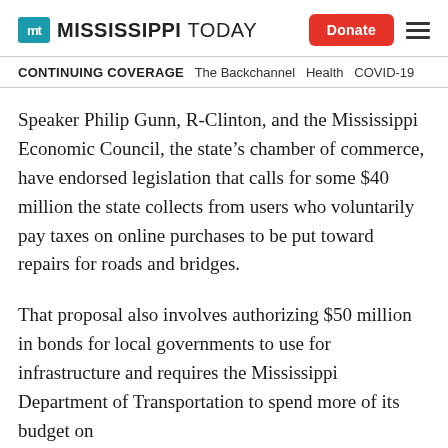Mississippi Today | Donate
CONTINUING COVERAGE   The Backchannel   Health   COVID-19
Speaker Philip Gunn, R-Clinton, and the Mississippi Economic Council, the state’s chamber of commerce, have endorsed legislation that calls for some $40 million the state collects from users who voluntarily pay taxes on online purchases to be put toward repairs for roads and bridges.
That proposal also involves authorizing $50 million in bonds for local governments to use for infrastructure and requires the Mississippi Department of Transportation to spend more of its budget on